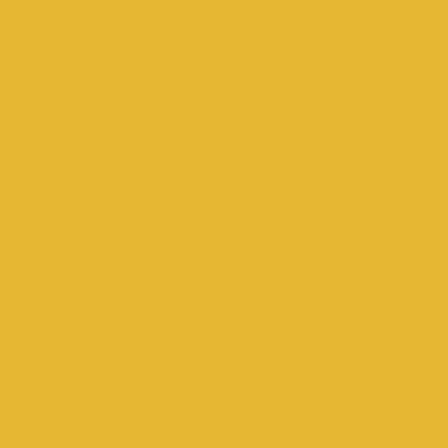cessation of deadly sin. No pers the letter of Jude, even the Dev defending our own life or the liv public morality and for saving s
One can say that Western ideol communist ideology but becaus positive as well as its negative s to assimilate the values of an op weak, the handicapped, and mi of an open society. It sometimes from the ideology of today's we which includes hatred and conte
Communists, nationalists and s despised and exiled ones. Thei attractive, particularly to the yo of the history which preceded th messages regarding: how to su society in which "strangers" find expression of the majority. Whil clearly be punished with the utn values of an open society (value ideological hypnotism. It can als dictatorship. While only a few a condemnation and contempt.